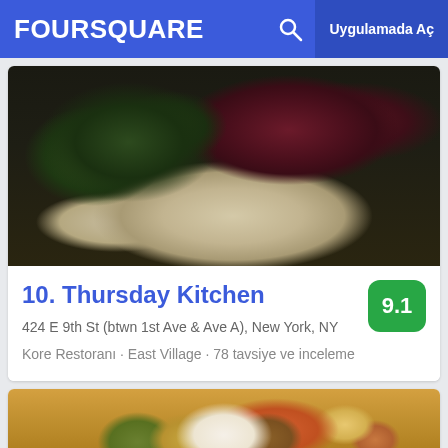FOURSQUARE  Uygulamada Aç
[Figure (photo): Close-up photo of a cooked meal with dark leafy greens (kale) and reddish-brown meat on a white creamy base, served on a dark plate]
10. Thursday Kitchen
9.1
424 E 9th St (btwn 1st Ave & Ave A), New York, NY
Kore Restoranı · East Village · 78 tavsiye ve inceleme
[Figure (photo): Close-up photo of a burrito or wrap in foil, showing filling of lettuce, rice, and meat, held by a hand]